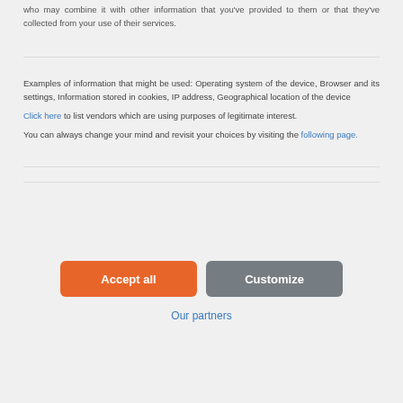who may combine it with other information that you've provided to them or that they've collected from your use of their services.
Examples of information that might be used: Operating system of the device, Browser and its settings, Information stored in cookies, IP address, Geographical location of the device
Click here to list vendors which are using purposes of legitimate interest.
You can always change your mind and revisit your choices by visiting the following page.
Accept all
Customize
Our partners